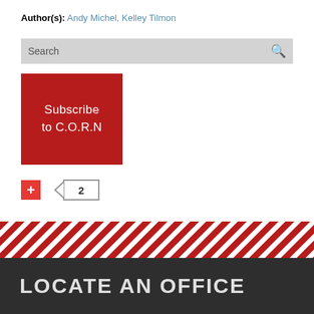Author(s): Andy Michel, Kelley Tilmon
[Figure (screenshot): Search bar with magnifying glass icon on gray background]
[Figure (infographic): Red subscribe button reading 'Subscribe to C.O.R.N']
[Figure (infographic): Red plus button and a badge showing number 2 with left arrow decoration]
[Figure (infographic): Diagonal red and white striped decorative band]
LOCATE AN OFFICE